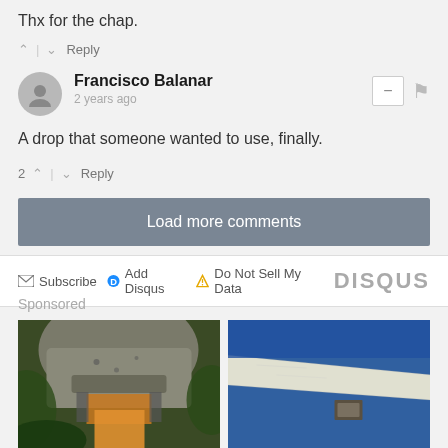Thx for the chap.
^ | v  Reply
Francisco Balanar
2 years ago
A drop that someone wanted to use, finally.
2 ^ | v  Reply
Load more comments
Subscribe  Add Disqus  Do Not Sell My Data  DISQUS
Sponsored
[Figure (photo): Two sponsored advertisement images showing airplane undercarriage/fuselage details from unusual angles. Left image shows the nose/underside of an aircraft in a jungle setting with orange interior lighting visible. Right image shows a blue and white aircraft fuselage exterior.]